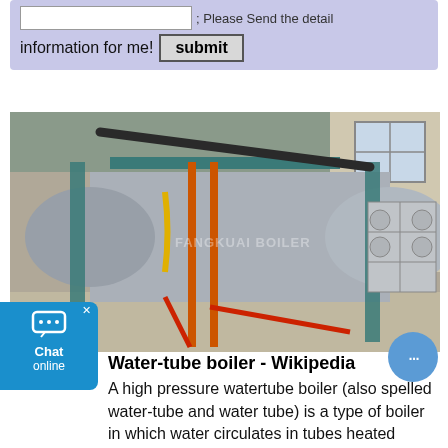; Please Send the detail information for me!  [submit]
[Figure (photo): Industrial water-tube boiler inside a factory building. A large horizontal cylindrical vessel with teal/blue metal framing, orange pipes, and yellow gas lines visible. Storage tanks and pressure vessels in the background. Watermark reads FANGKUAI BOILER.]
Water-tube boiler - Wikipedia
A high pressure watertube boiler (also spelled water-tube and water tube) is a type of boiler in which water circulates in tubes heated externally by the fire. Fuel is burned inside the furnace,